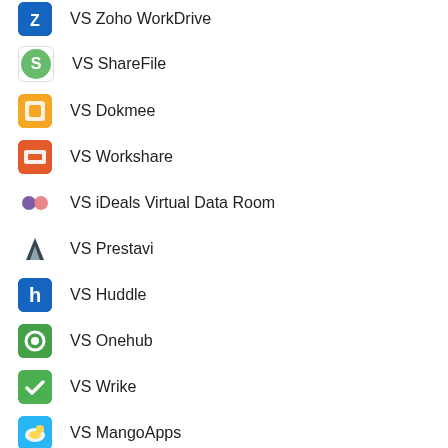VS Zoho WorkDrive
VS ShareFile
VS Dokmee
VS Workshare
VS iDeals Virtual Data Room
VS Prestavi
VS Huddle
VS Onehub
VS Wrike
VS MangoApps
This page will help you find the best Nomadesk alternative and similar software. If you think we are missing a competitor, please, let us know.